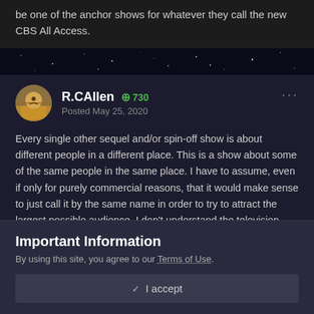be one of the anchor shows for whatever they call the new CBS All Access.
R.CAllen  +730
Posted May 25, 2020
Every single other sequel and/or spin-off show is about different people in a different place. This is a show about some of the same people in the same place. I have to assume, even if only for purely commercial reasons, that it would make sense to just call it by the same name in order to try to attract the largest possible audience. I don't understand the television business (how come a Star Trek show could get cancelled for ONLY having two and a half million live television viewers in '05 but now that there's
Important Information
By using this site, you agree to our Terms of Use.
✓  I accept